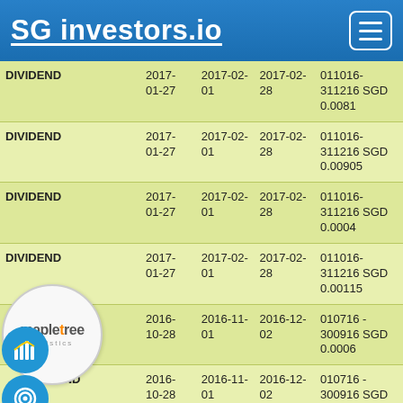SG investors.io
| Type | Ex-Date | Pay-From | Pay-Date | Details |
| --- | --- | --- | --- | --- |
| DIVIDEND | 2017-01-27 | 2017-02-01 | 2017-02-28 | 011016-311216 SGD 0.0081 |
| DIVIDEND | 2017-01-27 | 2017-02-01 | 2017-02-28 | 011016-311216 SGD 0.00905 |
| DIVIDEND | 2017-01-27 | 2017-02-01 | 2017-02-28 | 011016-311216 SGD 0.0004 |
| DIVIDEND | 2017-01-27 | 2017-02-01 | 2017-02-28 | 011016-311216 SGD 0.00115 |
| DIVIDEND | 2016-10-28 | 2016-11-01 | 2016-12-02 | 010716 - 300916 SGD 0.0006 |
| DIVIDEND | 2016-10-28 | 2016-11-01 | 2016-12-02 | 010716 - 300916 SGD 0.00645 |
| DIVIDEND | 2016-10-28 | 2016-11-01 | 2016-12-02 | 010716 - 300916 SGD 0.00885 |
| DIVIDEND | 2016-10-28 | 2016-11-01 | 2016-12-02 | 010716 - 300916 SGD 0.0027 |
| DIVIDEND | 2016- | 2016-08- | 2016-09-02 | 0104-300616 DPP |
[Figure (logo): Mapletree Logistics logo circle]
[Figure (illustration): Bar chart icon circle blue]
[Figure (illustration): Target/bullseye icon circle blue]
[Figure (illustration): Document icon circle blue]
[Figure (illustration): Dollar/info icon circle blue]
[Figure (illustration): Megaphone icon circle blue]